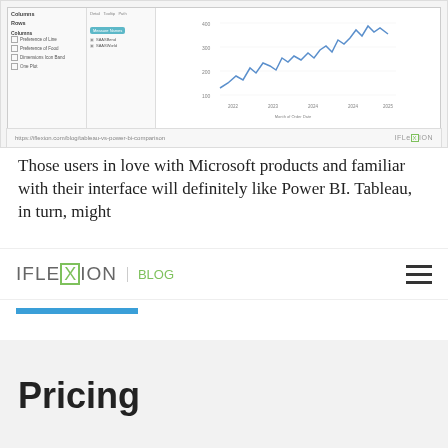[Figure (screenshot): Tableau interface screenshot showing a line chart with time series data (Month of Order Date on x-axis, values on y-axis), with sidebar panels showing Columns, Rows, Filters, and Marks settings, along with a bottom toolbar showing Data Source, Sheet 1, and other tabs.]
https://iflexion.com/blog/tableau-vs-power-bi
Those users in love with Microsoft products and familiar with their interface will definitely like Power BI. Tableau, in turn, might
[Figure (logo): IFLEXION BLOG logo with green X box and green BLOG text next to a vertical separator]
Pricing